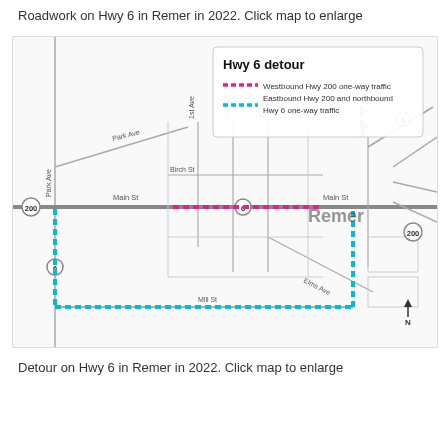Roadwork on Hwy 6 in Remer in 2022. Click map to enlarge
[Figure (map): Road map showing Hwy 6 detour in Remer, 2022. Pink dashed line shows Westbound Hwy 200 one-way traffic along Main St. Cyan/teal dashed line shows Eastbound Hwy 200 and northbound Hwy 6 one-way traffic forming a rectangular detour south via Park Ave, along Mill St, then north back to Main St. Street labels include Park Ave, Park Ave, 1st Ave, 2nd Ave, 3rd Ave, Birch St, Main St, Elms Ave, Mill St, Eagle Ave. Route markers for 200 and 6 shown.]
Detour on Hwy 6 in Remer in 2022. Click map to enlarge